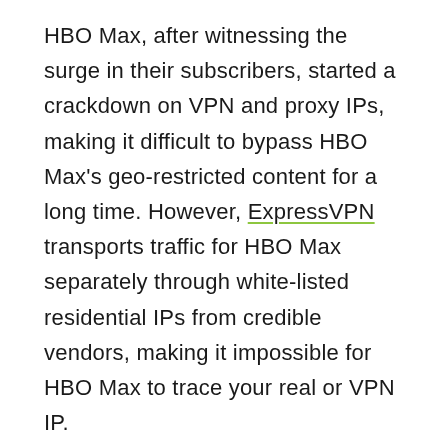HBO Max, after witnessing the surge in their subscribers, started a crackdown on VPN and proxy IPs, making it difficult to bypass HBO Max's geo-restricted content for a long time. However, ExpressVPN transports traffic for HBO Max separately through white-listed residential IPs from credible vendors, making it impossible for HBO Max to trace your real or VPN IP.
Why is ExpressVPN the fastest VPN for HBO Max?
ExpressVPN spent heavily on their infrastructure.
This is the reason they charge a premium. They